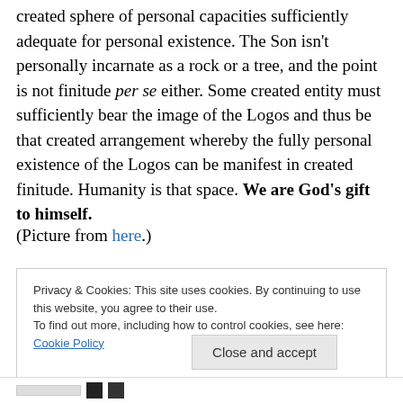created sphere of personal capacities sufficiently adequate for personal existence. The Son isn't personally incarnate as a rock or a tree, and the point is not finitude per se either. Some created entity must sufficiently bear the image of the Logos and thus be that created arrangement whereby the fully personal existence of the Logos can be manifest in created finitude. Humanity is that space. We are God's gift to himself.
(Picture from here.)
Privacy & Cookies: This site uses cookies. By continuing to use this website, you agree to their use. To find out more, including how to control cookies, see here: Cookie Policy